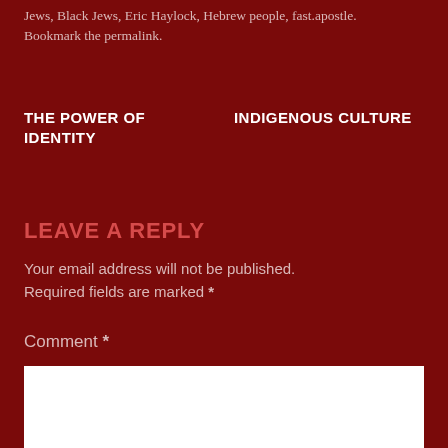Jews, Black Jews, Eric Haylock, Hebrew people, fast.apostle. Bookmark the permalink.
THE POWER OF IDENTITY
INDIGENOUS CULTURE
LEAVE A REPLY
Your email address will not be published. Required fields are marked *
Comment *